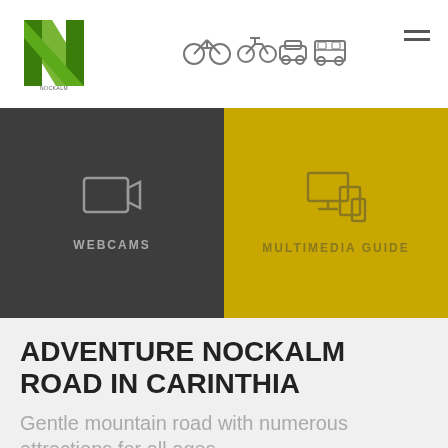[Figure (screenshot): Website header with Nockalm logo, vehicle navigation icons (bicycle, motorcycle, car, bus), and hamburger menu]
[Figure (screenshot): Two dark/yellow tiles: WEBCAMS (camera icon) and MULTIMEDIA GUIDE (devices icon)]
ADVENTURE NOCKALM ROAD IN CARINTHIA
Gentle mountain road with numerous attractions for all ages